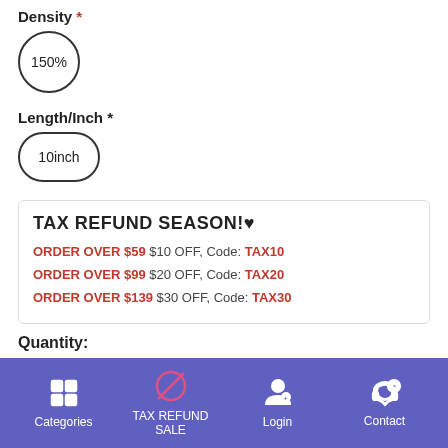Density *
[Figure (other): Circle button showing '150%' selected density option]
Length/Inch *
[Figure (other): Oval button showing '10inch' selected length option]
TAX REFUND SEASON!♥ ORDER OVER $59 $10 OFF, Code: TAX10 ORDER OVER $99 $20 OFF, Code: TAX20 ORDER OVER $139 $30 OFF, Code: TAX30
Quantity:
Categories  TAX REFUND SALE  Login  Contact